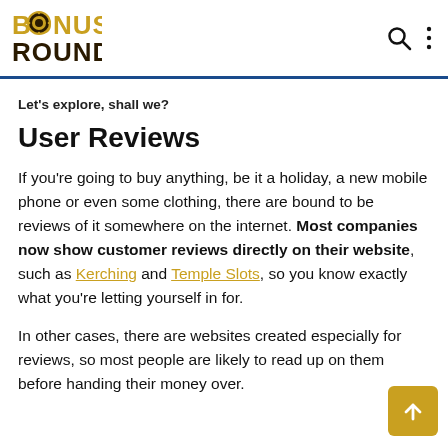[Figure (logo): Bonus Round logo with casino chip graphic, yellow and dark brown text]
Let's explore, shall we?
User Reviews
If you're going to buy anything, be it a holiday, a new mobile phone or even some clothing, there are bound to be reviews of it somewhere on the internet. Most companies now show customer reviews directly on their website, such as Kerching and Temple Slots, so you know exactly what you're letting yourself in for.
In other cases, there are websites created especially for reviews, so most people are likely to read up on them before handing their money over.